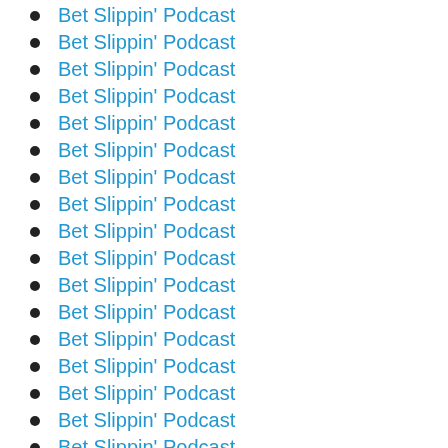Bet Slippin' Podcast
Bet Slippin' Podcast
Bet Slippin' Podcast
Bet Slippin' Podcast
Bet Slippin' Podcast
Bet Slippin' Podcast
Bet Slippin' Podcast
Bet Slippin' Podcast
Bet Slippin' Podcast
Bet Slippin' Podcast
Bet Slippin' Podcast
Bet Slippin' Podcast
Bet Slippin' Podcast
Bet Slippin' Podcast
Bet Slippin' Podcast
Bet Slippin' Podcast
Bet Slippin' Podcast